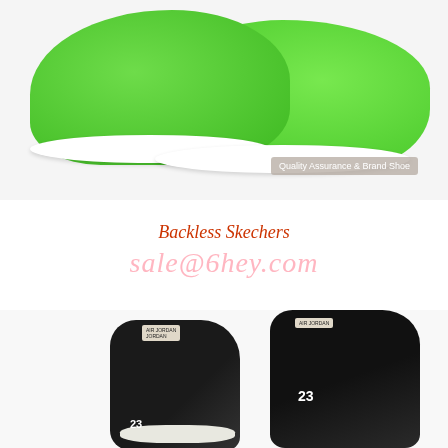[Figure (photo): Two green mesh Nike Blazer sneakers viewed from above/side angle, with white soles, on a light grey background. A badge reads 'Quality Assurance & Brand Shoe' in the lower right.]
Backless Skechers
sale@6hey.com
[Figure (photo): Two black Air Jordan high-top sneakers shown from the back/heel angle, displaying the number 23 and Air Jordan tags, with white/cream midsoles, on a white background.]